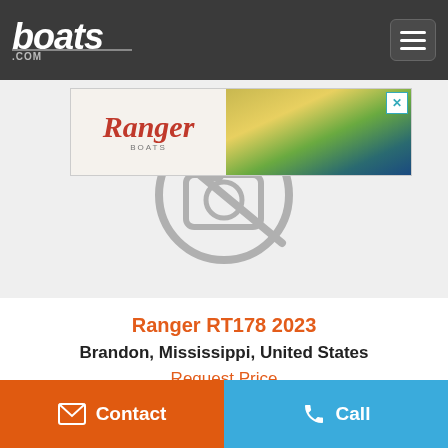boats.com
[Figure (screenshot): Ranger Boats advertisement banner with Ranger script logo on left and fishing boat image on right with yellow flower background]
[Figure (illustration): No photo available placeholder icon - camera with slash through it on gray background]
Ranger RT178 2023
Brandon, Mississippi, United States
Request Price
Contact
Call